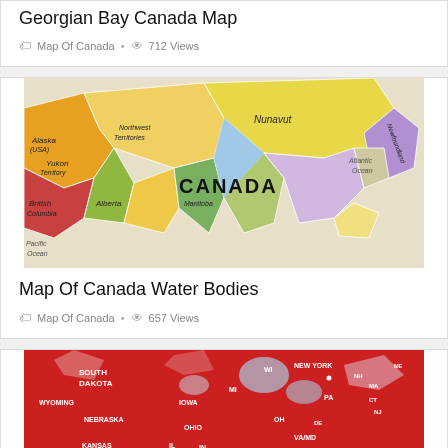Georgian Bay Canada Map
Map Of Canada • 712 Views
[Figure (map): Colorful political map of Canada showing provinces and territories including Nunavut, Northwest Territories, Yukon Territory, British Columbia, Alberta, Manitoba, and others with labels for Atlantic Ocean, Pacific Ocean, and Alaska (USA).]
Map Of Canada Water Bodies
Map Of Canada • 657 Views
[Figure (map): Red-colored map showing parts of the United States including South Dakota, Wyoming, Nebraska, Kansas, Missouri, Iowa, Ohio, New York, Kentucky and other states.]